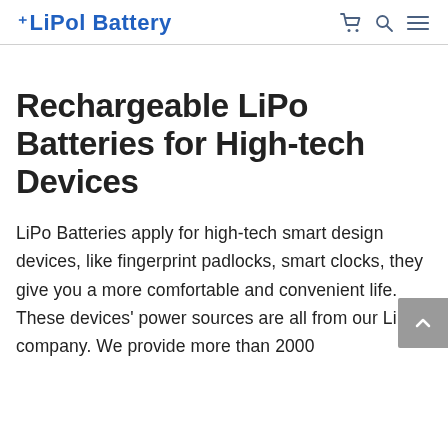LiPol Battery
Rechargeable LiPo Batteries for High-tech Devices
LiPo Batteries apply for high-tech smart design devices, like fingerprint padlocks, smart clocks, they give you a more comfortable and convenient life. These devices' power sources are all from our LiPol company. We provide more than 2000